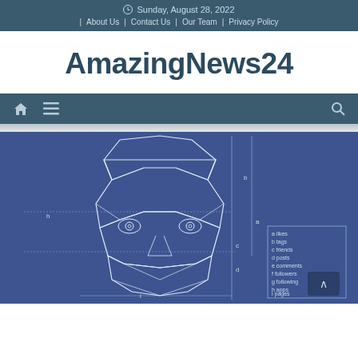Sunday, August 28, 2022
| About Us | Contact Us | Our Team | Privacy Policy
AmazingNews24
[Figure (illustration): Blueprint-style geometric polygon face schematic diagram on blue background with measurement labels (a-l) and a legend listing: a likes, b tags, c friends, d posts, e comments, f followers, g following, h apps, i pages, j activity, k check-ins, l privacy]